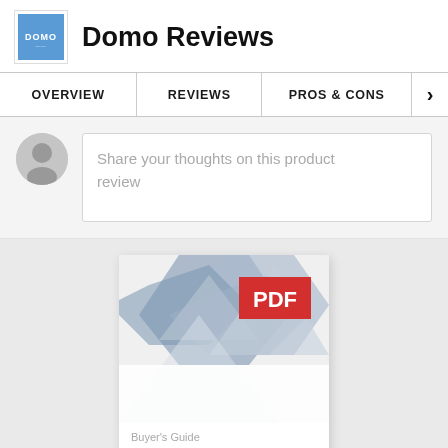[Figure (logo): Domo logo — blue square with white DOMO text]
Domo Reviews
OVERVIEW | REVIEWS | PROS & CONS | >
Share your thoughts on this product review
[Figure (illustration): PDF buyer's guide cover with blue geometric hexagon shapes and red PDF badge. Text: Buyer's Guide, BI (Business]
Buyer's Guide
BI (Business